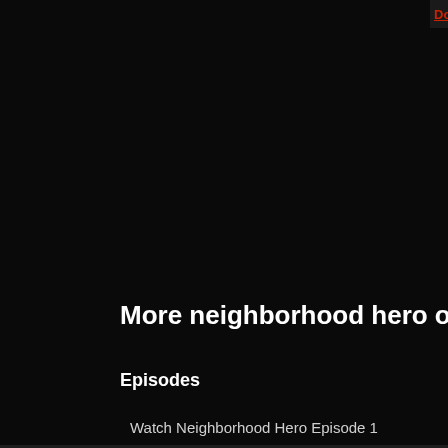Download Neighborhood Hero Ep…
Note: Now you are watching kdrama neighborhood… party sites (youtube , yahoo and dailymotion etc). downloadable videos (not split, with DVD quality, members.
More neighborhood hero online videos
Episodes
Watch Neighborhood Hero Episode 1
Watch Neighborhood Hero Episode 2
Watch Neighborhood Hero Episode 3
Watch Neighborhood Hero Episode 4
Watch Neighborhood Hero Episode 5
Watch Neighborhood Hero Episode 6
Watch Neighborhood Hero Episode 7
Watch Neighborhood Hero Episode 8
Watch Neighborhood Hero Episode 9